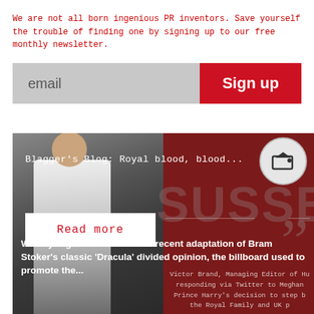We are not all born ingenious PR inventors. Save yourself the trouble of finding one by signing up to our free monthly newsletter.
[Figure (screenshot): Email signup bar with grey input field labeled 'email' and red 'Sign up' button]
[Figure (infographic): Blog card with dark red background, photo of a woman in white dress, circle logo icon, blog title 'Blagger's Blog: Royal blood, blood...', large SUSSEX text, weekly high excerpt about BBC Dracula adaptation, Read more button, large quote marks, and Victor Brand quote about Meghan and Prince Harry stepping back from Royal Family]